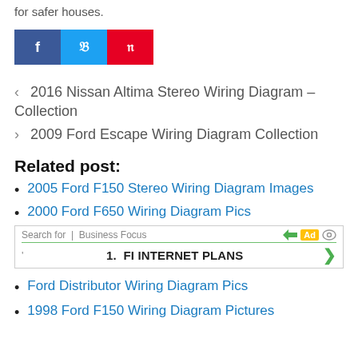for safer houses.
[Figure (other): Social share buttons: Facebook (blue), Twitter (light blue), Pinterest (red)]
< 2016 Nissan Altima Stereo Wiring Diagram – Collection
> 2009 Ford Escape Wiring Diagram Collection
Related post:
2005 Ford F150 Stereo Wiring Diagram Images
2000 Ford F650 Wiring Diagram Pics
[Figure (other): Advertisement bar: Search for | Business Focus, Ad badge, 1. FI INTERNET PLANS with green arrow]
Ford Distributor Wiring Diagram Pics
1998 Ford F150 Wiring Diagram Pictures